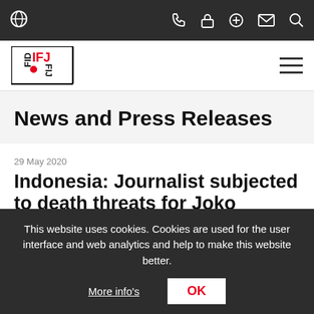IFJ website navigation bar with globe icon, phone, lock, plus, mail, search icons
[Figure (logo): IFJ (International Federation of Journalists) logo in red and black with hamburger menu icon]
News and Press Releases
29 May 2020
Indonesia: Journalist subjected to death threats for Joko Widodo story
A journalist from one of Indonesia's largest digital
This website uses cookies. Cookies are used for the user interface and web analytics and help to make this website better.
More info's  OK